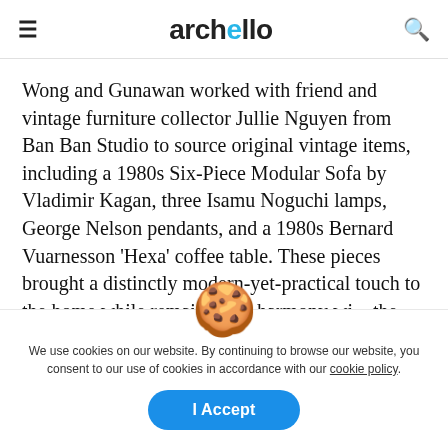archello
Wong and Gunawan worked with friend and vintage furniture collector Jullie Nguyen from Ban Ban Studio to source original vintage items, including a 1980s Six-Piece Modular Sofa by Vladimir Kagan, three Isamu Noguchi lamps, George Nelson pendants, and a 1980s Bernard Vuarnesson 'Hexa' coffee table. These pieces brought a distinctly modern-yet-practical touch to the home while remaining in harmony with the existing architecture
We use cookies on our website. By continuing to browse our website, you consent to our use of cookies in accordance with our cookie policy.
I Accept